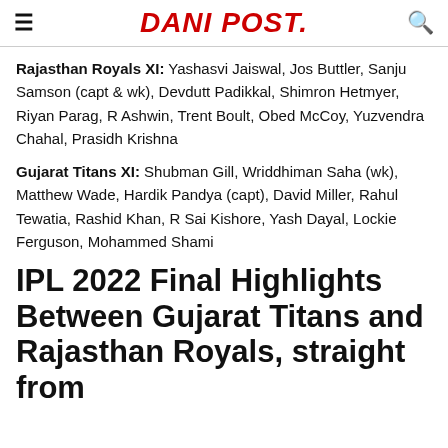DANI POST.
Rajasthan Royals XI: Yashasvi Jaiswal, Jos Buttler, Sanju Samson (capt & wk), Devdutt Padikkal, Shimron Hetmyer, Riyan Parag, R Ashwin, Trent Boult, Obed McCoy, Yuzvendra Chahal, Prasidh Krishna
Gujarat Titans XI: Shubman Gill, Wriddhiman Saha (wk), Matthew Wade, Hardik Pandya (capt), David Miller, Rahul Tewatia, Rashid Khan, R Sai Kishore, Yash Dayal, Lockie Ferguson, Mohammed Shami
IPL 2022 Final Highlights Between Gujarat Titans and Rajasthan Royals, straight from the Narendra Modi Stadium